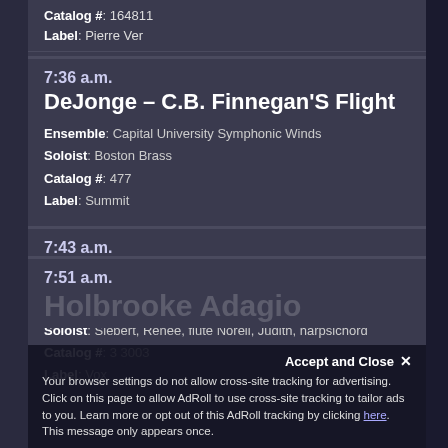Catalog #: 164811
Label: Pierre Ver
7:36 a.m.
DeJonge – C.B. Finnegan'S Flight
Ensemble: Capital University Symphonic Winds
Soloist: Boston Brass
Catalog #: 477
Label: Summit
7:43 a.m.
Mozart – Flute Sonata In B-Flat, K. 15
Soloist: Siebert, Renee, flute Norell, Judith, harpsichord
Catalog #: 3 3003
Label: Vox
7:51 a.m.
Accept and Close ✕
Your browser settings do not allow cross-site tracking for advertising. Click on this page to allow AdRoll to use cross-site tracking to tailor ads to you. Learn more or opt out of this AdRoll tracking by clicking here. This message only appears once.